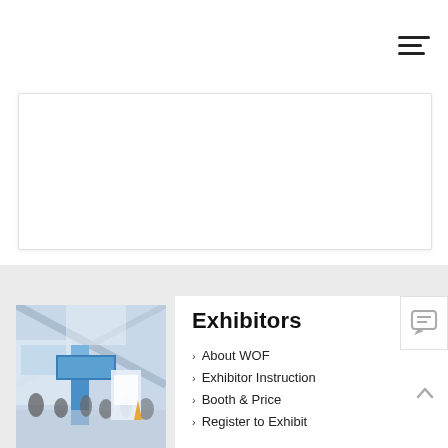[Figure (other): Hamburger/menu icon with three horizontal bars in top right corner]
[Figure (other): White card/content area with border and shadow]
[Figure (photo): Exhibition hall photo showing trade show booths with blue and white displays, high ceiling with natural light, visitors walking around]
Exhibitors
About WOF
Exhibitor Instruction
Booth & Price
Register to Exhibit
[Figure (other): Comment/chat icon button in top right of navigation panel]
[Figure (other): Scroll to top arrow button]